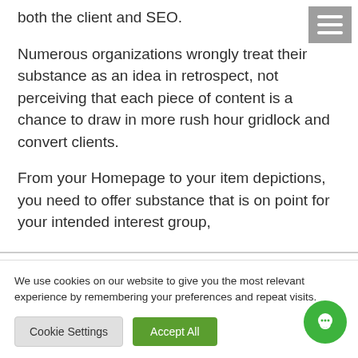both the client and SEO.
Numerous organizations wrongly treat their substance as an idea in retrospect, not perceiving that each piece of content is a chance to draw in more rush hour gridlock and convert clients.
From your Homepage to your item depictions, you need to offer substance that is on point for your intended interest group,
We use cookies on our website to give you the most relevant experience by remembering your preferences and repeat visits.